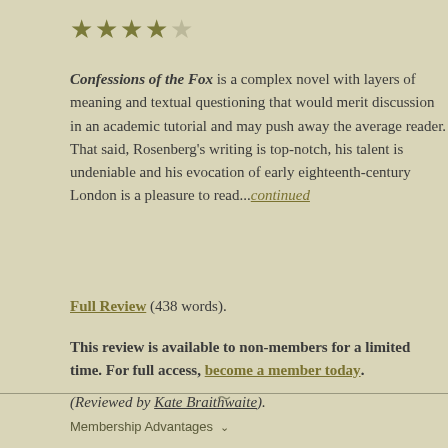[Figure (other): Star rating: 4 out of 5 stars (4 filled stars, 1 empty star)]
Confessions of the Fox is a complex novel with layers of meaning and textual questioning that would merit discussion in an academic tutorial and may push away the average reader. That said, Rosenberg's writing is top-notch, his talent is undeniable and his evocation of early eighteenth-century London is a pleasure to read...continued
Full Review (438 words).
This review is available to non-members for a limited time. For full access, become a member today.
(Reviewed by Kate Braithwaite).
Membership Advantages ✓